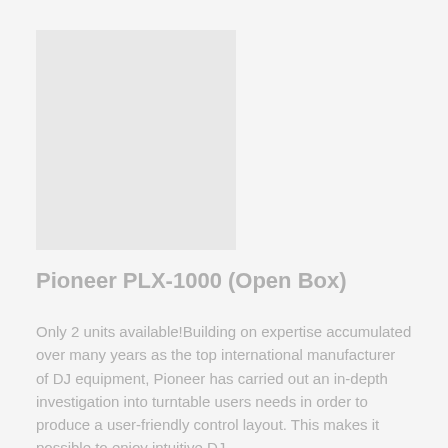[Figure (photo): Product image area placeholder for Pioneer PLX-1000 turntable]
Pioneer PLX-1000 (Open Box)
Only 2 units available!Building on expertise accumulated over many years as the top international manufacturer of DJ equipment, Pioneer has carried out an in-depth investigation into turntable users needs in order to produce a user-friendly control layout. This makes it possible to enjoy intuitive DJ...